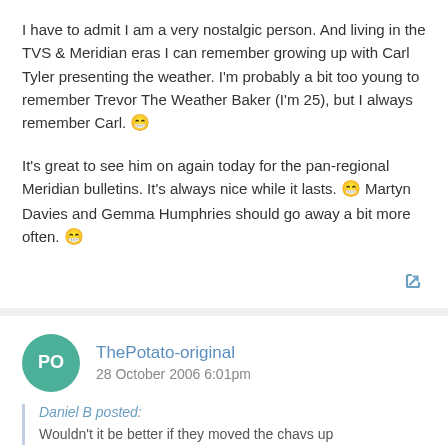I have to admit I am a very nostalgic person. And living in the TVS & Meridian eras I can remember growing up with Carl Tyler presenting the weather. I'm probably a bit too young to remember Trevor The Weather Baker (I'm 25), but I always remember Carl. 😁

It's great to see him on again today for the pan-regional Meridian bulletins. It's always nice while it lasts. 😁 Martyn Davies and Gemma Humphries should go away a bit more often. 😁
ThePotato-original
28 October 2006 6:01pm
Daniel B posted:
Wouldn't it be better if they moved the chavs up